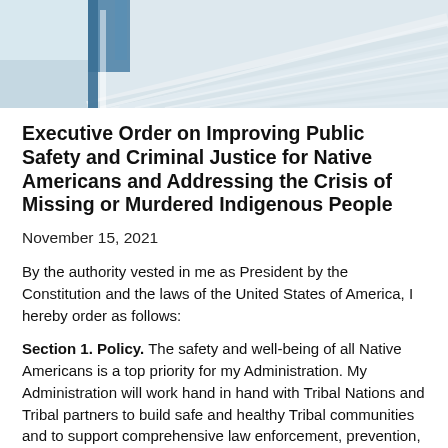[Figure (photo): Aerial or architectural photo showing a white curved/ribbed structure, likely a government building roof or architectural feature, with blue structural elements visible at the top left corner.]
Executive Order on Improving Public Safety and Criminal Justice for Native Americans and Addressing the Crisis of Missing or Murdered Indigenous People
November 15, 2021
By the authority vested in me as President by the Constitution and the laws of the United States of America, I hereby order as follows:
Section 1. Policy. The safety and well-being of all Native Americans is a top priority for my Administration. My Administration will work hand in hand with Tribal Nations and Tribal partners to build safe and healthy Tribal communities and to support comprehensive law enforcement, prevention, intervention, and support services